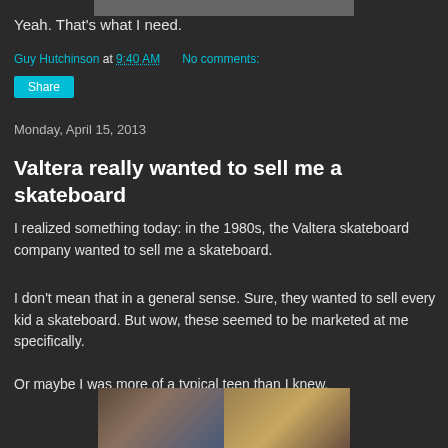[Figure (photo): Partial image at top of page, cropped]
Yeah. That's what I need.
Guy Hutchinson at 9:40 AM   No comments:
Share
Monday, April 15, 2013
Valtera really wanted to sell me a skateboard
I realized something today: in the 1980s, the Valtera skateboard company wanted to sell me a skateboard.
I don't mean that in a general sense. Sure, they wanted to sell every kid a skateboard. But wow, these seemed to be marketed at me specifically.
Or maybe I was more of a typical teen than I knew.
[Figure (photo): Two photos side by side: left shows a person with a bag, right shows a skateboard on a wooden surface]